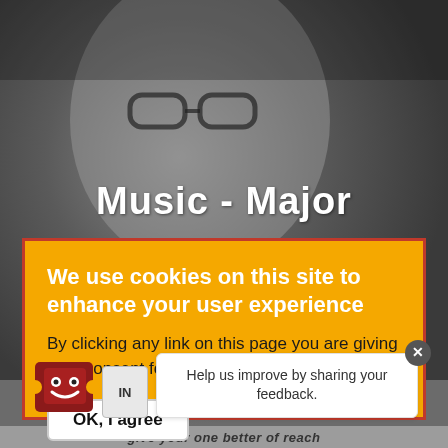[Figure (photo): Dark grayscale photo of a person wearing glasses looking down, used as page background]
Music - Major
We use cookies on this site to enhance your user experience
By clicking any link on this page you are giving your consent for us to set cookies.
OK, I agree
[Figure (illustration): Small robot/character icon with a smiley face in dark red, with partial 'IN' text label beside it]
Help us improve by sharing your feedback.